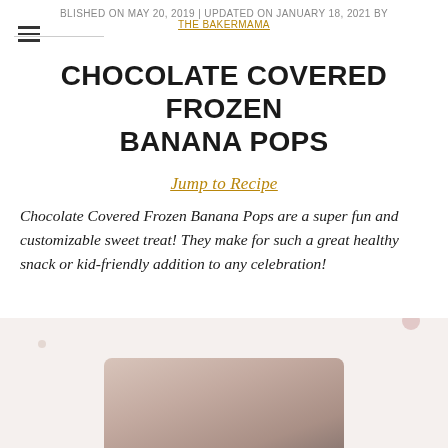BLISHED ON MAY 20, 2019 | UPDATED ON JANUARY 18, 2021 BY THE BAKERMAMA
CHOCOLATE COVERED FROZEN BANANA POPS
Jump to Recipe
Chocolate Covered Frozen Banana Pops are a super fun and customizable sweet treat! They make for such a great healthy snack or kid-friendly addition to any celebration!
[Figure (photo): Partially visible photo of chocolate covered frozen banana pops at the bottom of the page]